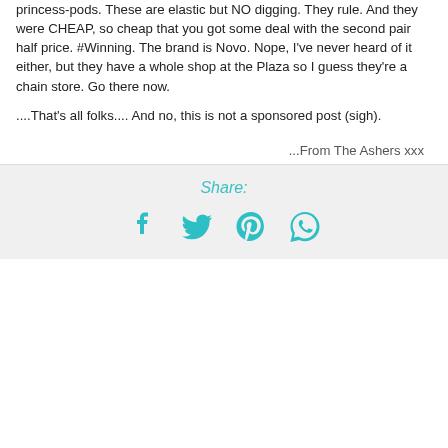princess-pods.  These are elastic but NO digging.  They rule.  And they were CHEAP, so cheap that you got some deal with the second pair half price.  #Winning.  The brand is Novo.  Nope, I've never heard of it either, but they have a whole shop at the Plaza so I guess they're a chain store.  Go there now.
....That's all folks....  And no, this is not a sponsored post (sigh).
...From The Ashers xxx
Share:
[Figure (infographic): Social share icons: Facebook, Twitter, Pinterest, WhatsApp in teal color]